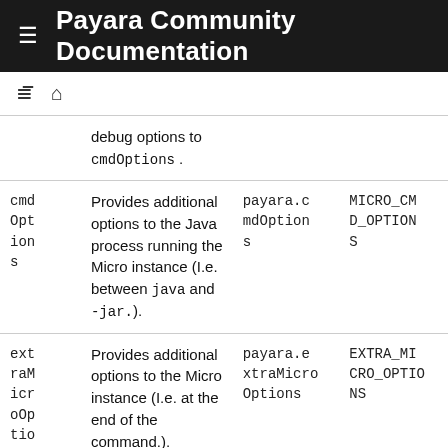Payara Community Documentation
| Parameter | Description | System Property | Environment Variable |
| --- | --- | --- | --- |
|  | debug options to cmdOptions. |  |  |
| cmdOptions | Provides additional options to the Java process running the Micro instance (I.e. between java and -jar.). | payara.cmdOptions | MICRO_CMD_OPTIONS |
| extraMicroOptions | Provides additional options to the Micro instance (I.e. at the end of the command.). | payara.extraMicroOptions | EXTRA_MICRO_OPTIONS |